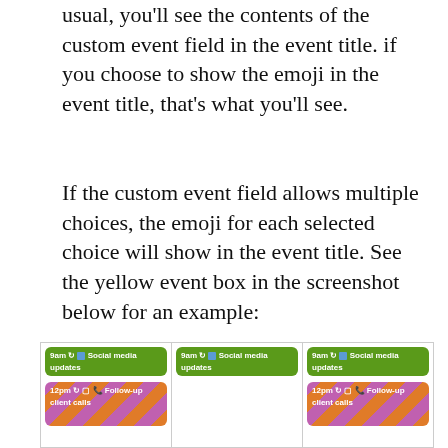usual, you'll see the contents of the custom event field in the event title. if you choose to show the emoji in the event title, that's what you'll see.
If the custom event field allows multiple choices, the emoji for each selected choice will show in the event title. See the yellow event box in the screenshot below for an example:
[Figure (screenshot): Calendar view screenshot showing three columns of days. Each column has a green event labeled '9am [recurrence icon] [blue square] Social media updates'. The first and third columns also show a striped purple-orange event labeled '12pm [icons] Follow-up client calls' at the bottom.]